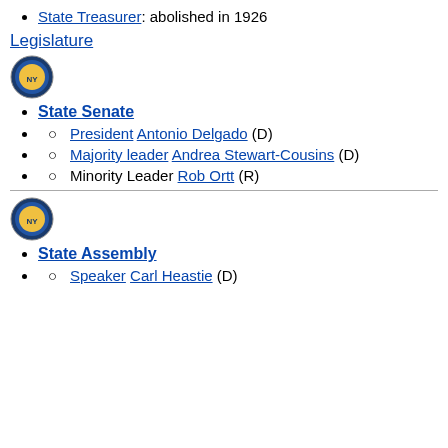State Treasurer: abolished in 1926
Legislature
[Figure (illustration): New York State seal circular emblem, blue and gold]
State Senate
President Antonio Delgado (D)
Majority leader Andrea Stewart-Cousins (D)
Minority Leader Rob Ortt (R)
[Figure (illustration): New York State seal circular emblem, blue and gold]
State Assembly
Speaker Carl Heastie (D)